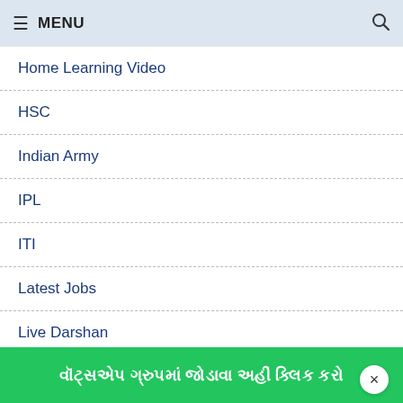≡ MENU 🔍
Home Learning Video
HSC
Indian Army
IPL
ITI
Latest Jobs
Live Darshan
maru gujarat
× (close button)
વૉટ્સએપ ગ્રુપમાં જોડાવા અહીં ક્લિક કરો